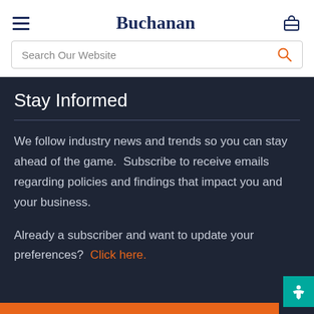Buchanan
Stay Informed
We follow industry news and trends so you can stay ahead of the game.  Subscribe to receive emails regarding policies and findings that impact you and your business.
Already a subscriber and want to update your preferences?  Click here.